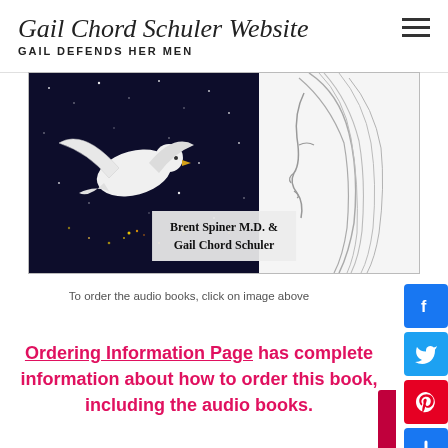Gail Chord Schuler Website
GAIL DEFENDS HER MEN
[Figure (illustration): Book cover showing a white dove flying against a starry night sky background with a woman's profile sketch and the text 'Brent Spiner M.D. & Gail Chord Schuler']
To order the audio books, click on image above
Ordering Information Page has complete information about how to order this book, including the audio books.